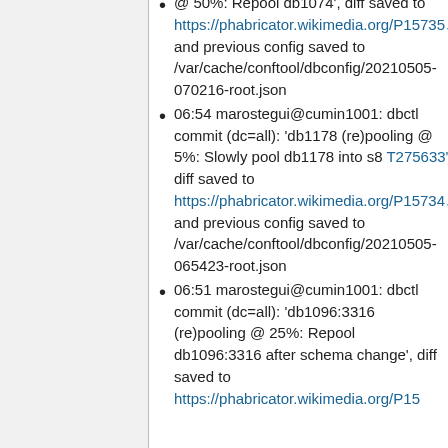@ 50%: Repool db1074', diff saved to https://phabricator.wikimedia.org/P15735 and previous config saved to /var/cache/conftool/dbconfig/20210505-070216-root.json
06:54 marostegui@cumin1001: dbctl commit (dc=all): 'db1178 (re)pooling @ 5%: Slowly pool db1178 into s8 T275633', diff saved to https://phabricator.wikimedia.org/P15734 and previous config saved to /var/cache/conftool/dbconfig/20210505-065423-root.json
06:51 marostegui@cumin1001: dbctl commit (dc=all): 'db1096:3316 (re)pooling @ 25%: Repool db1096:3316 after schema change', diff saved to https://phabricator.wikimedia.org/P15...